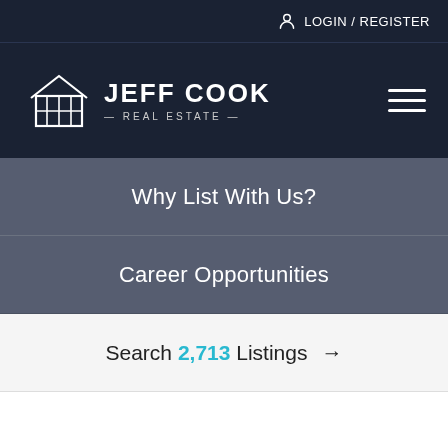LOGIN / REGISTER
[Figure (logo): Jeff Cook Real Estate logo with house icon and text]
Why List With Us?
Career Opportunities
Search 2,713 Listings →
Home > Blog